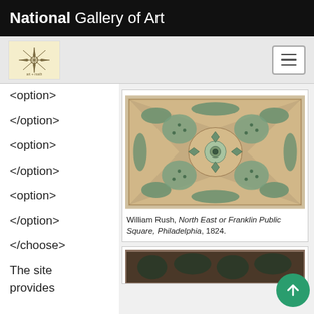National Gallery of Art
<option>
</option>
<option>
</option>
<option>
</option>
</choose>
The site provides
[Figure (photo): William Rush, North East or Franklin Public Square, Philadelphia, 1824. A bird's-eye view garden plan drawing with geometric paths and plantings on aged paper.]
William Rush, North East or Franklin Public Square, Philadelphia, 1824.
[Figure (photo): Partial view of a second artwork, showing dark botanical imagery.]